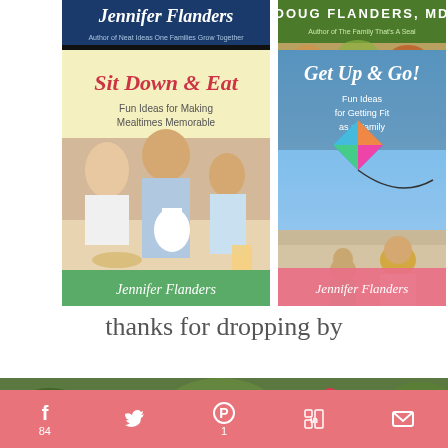[Figure (illustration): Book cover top-left: Jennifer Flanders book with blue background and cursive author name]
[Figure (illustration): Book cover top-right: Doug Flanders MD book with green background]
[Figure (illustration): Book cover: Sit Down & Eat - Fun Ideas for Making Mealtimes Memorable by Jennifer Flanders, yellow background with family dining photo]
[Figure (illustration): Book cover: Get Up & Go! - Fun Ideas for Getting Fit as a Family by Jennifer Flanders, blue sky with kite photo]
thanks for dropping by
[Figure (photo): Photo strip of garden/outdoor scene at bottom]
[Figure (infographic): Social sharing bar with Facebook (84), Twitter, Pinterest (1), LinkedIn, Email icons on pink background]